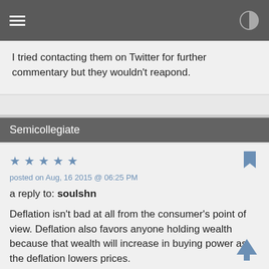I tried contacting them on Twitter for further commentary but they wouldn't reapond.
Semicollegiate
★★★★★
posted on Aug, 16 2015 @ 06:25 PM
a reply to: soulshn
Deflation isn't bad at all from the consumer's point of view. Deflation also favors anyone holding wealth because that wealth will increase in buying power as the deflation lowers prices.

So I was wondering if you could summarize why deflation is bad.